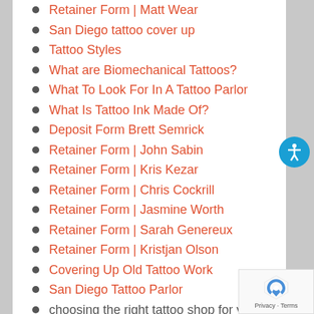Retainer Form | Matt Wear (partial, cropped at top)
San Diego tattoo cover up
Tattoo Styles
What are Biomechanical Tattoos?
What To Look For In A Tattoo Parlor
What Is Tattoo Ink Made Of?
Deposit Form Brett Semrick
Retainer Form | John Sabin
Retainer Form | Kris Kezar
Retainer Form | Chris Cockrill
Retainer Form | Jasmine Worth
Retainer Form | Sarah Genereux
Retainer Form | Kristjan Olson
Covering Up Old Tattoo Work
San Diego Tattoo Parlor
choosing the right tattoo shop for you
best tattoo artists in San Diego
best place to get a tattoo near me